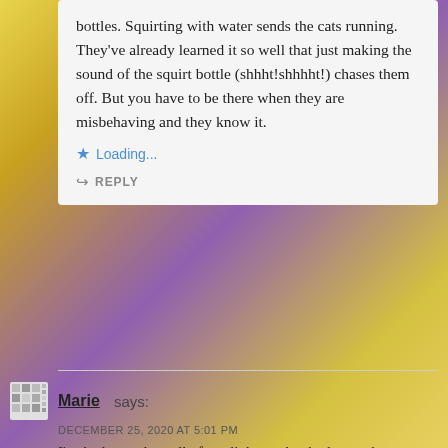bottles. Squirting with water sends the cats running. They've already learned it so well that just making the sound of the squirt bottle (shhht!shhhht!) chases them off. But you have to be there when they are misbehaving and they know it.
Loading...
REPLY
Marie says:
DECEMBER 25, 2020 AT 5:01 PM
I've had to replace all of our lights and redo the tree because our younger cat chewed through the cords. We decided to leave the lower level of branches un-lit, and to put the end of the cord out of reach when